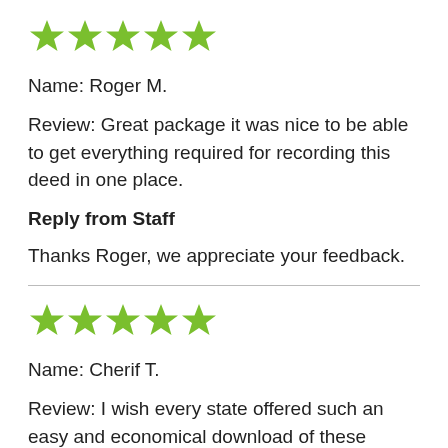[Figure (other): Five green stars rating]
Name: Roger M.
Review: Great package it was nice to be able to get everything required for recording this deed in one place.
Reply from Staff
Thanks Roger, we appreciate your feedback.
[Figure (other): Five green stars rating]
Name: Cherif T.
Review: I wish every state offered such an easy and economical download of these forms. You were reasonable in price, I received one of every form you offered along with instructions, and it made my day so easy. Why pay a lawyer